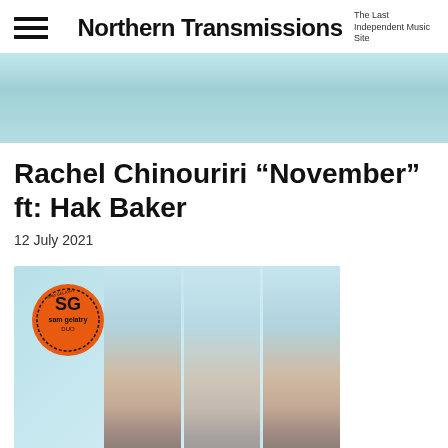Northern Transmissions — The Last Independent Music Site
[Figure (photo): Cropped hero image of an album or artist photo with light blue/teal background]
Rachel Chinouriri “November” ft: Hak Baker
12 July 2021
[Figure (photo): Album artwork for Sam Gelatry Duo showing a person's face split into panels against a light blue background, with an orange SG circular badge logo in the top left]